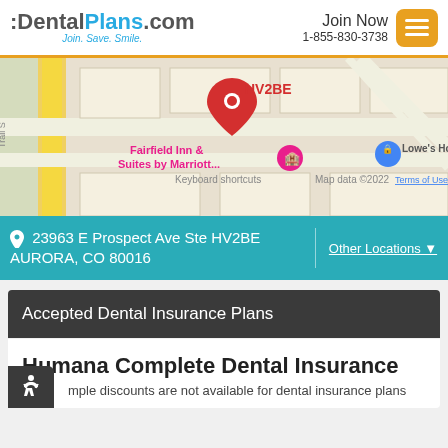DentalPlans.com Join. Save. Smile. | Join Now 1-855-830-3738
[Figure (map): Google Maps view showing location pin labeled HV2BE near Fairfield Inn & Suites by Marriott and Lowe's Home, Aurora CO area. Keyboard shortcuts visible. Map data ©2022. Terms of Use.]
23963 E Prospect Ave Ste HV2BE AURORA, CO 80016 | Other Locations
Accepted Dental Insurance Plans
Humana Complete Dental Insurance
mple discounts are not available for dental insurance plans